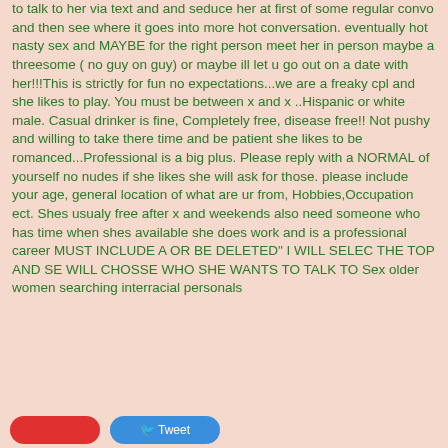to talk to her via text and and seduce her at first of some regular convo and then see where it goes into more hot conversation. eventually hot nasty sex and MAYBE for the right person meet her in person maybe a threesome ( no guy on guy) or maybe ill let u go out on a date with her!!!This is strictly for fun no expectations...we are a freaky cpl and she likes to play. You must be between x and x ..Hispanic or white male. Casual drinker is fine, Completely free, disease free!! Not pushy and willing to take there time and be patient she likes to be romanced...Professional is a big plus. Please reply with a NORMAL of yourself no nudes if she likes she will ask for those. please include your age, general location of what are ur from, Hobbies,Occupation ect. Shes usualy free after x and weekends also need someone who has time when shes available she does work and is a professional career MUST INCLUDE A OR BE DELETED" I WILL SELEC THE TOP AND SE WILL CHOSSE WHO SHE WANTS TO TALK TO Sex older women searching interracial personals